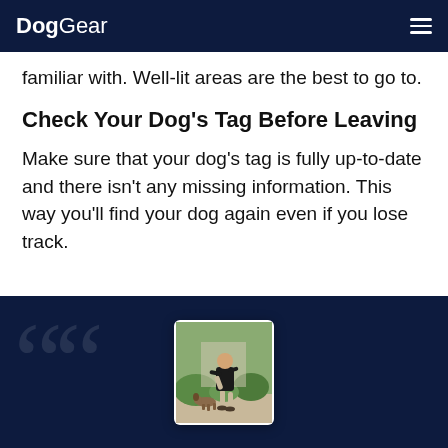DogGear
familiar with. Well-lit areas are the best to go to.
Check Your Dog's Tag Before Leaving
Make sure that your dog's tag is fully up-to-date and there isn't any missing information. This way you'll find your dog again even if you lose track.
[Figure (photo): Dark navy quote block with large decorative quotation marks and a centered photo card showing a person with a dog outdoors in a garden setting.]